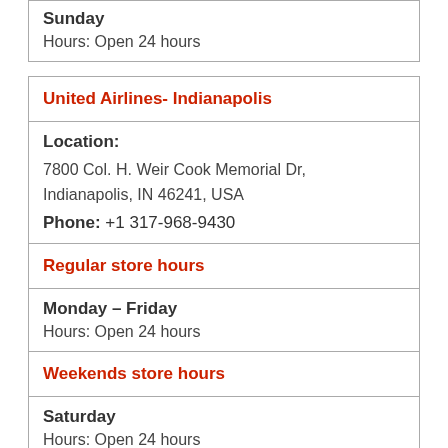Sunday
Hours: Open 24 hours
United Airlines- Indianapolis
Location:
7800 Col. H. Weir Cook Memorial Dr,
Indianapolis, IN 46241, USA
Phone: +1 317-968-9430
Regular store hours
Monday – Friday
Hours: Open 24 hours
Weekends store hours
Saturday
Hours: Open 24 hours
Sunday